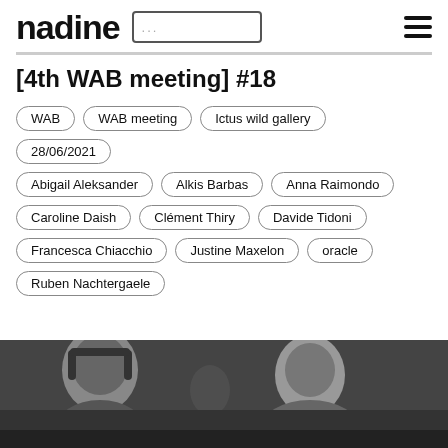nadine
[4th WAB meeting] #18
WAB
WAB meeting
Ictus wild gallery
28/06/2021
Abigail Aleksander
Alkis Barbas
Anna Raimondo
Caroline Daish
Clément Thiry
Davide Tidoni
Francesca Chiacchio
Justine Maxelon
oracle
Ruben Nachtergaele
[Figure (photo): Black and white photograph showing two people, one wearing headphones on the left and another person on the right]